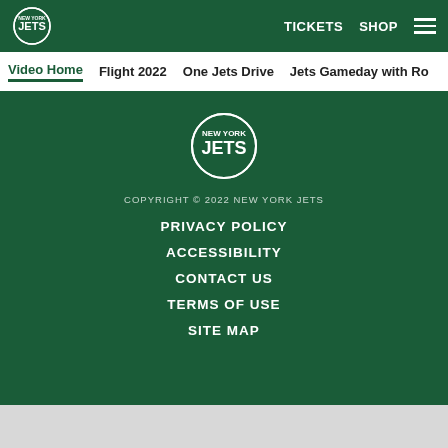TICKETS  SHOP  [menu]
Video Home  Flight 2022  One Jets Drive  Jets Gameday with Ro
[Figure (logo): New York Jets logo (oval green shield with JETS text), footer version]
COPYRIGHT © 2022 NEW YORK JETS
PRIVACY POLICY
ACCESSIBILITY
CONTACT US
TERMS OF USE
SITE MAP